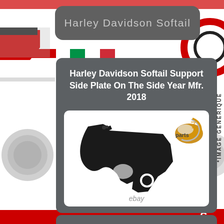Harley Davidson Softail
Harley Davidson Softail Support Side Plate On The Side Year Mfr. 2018
[Figure (photo): Product photo of a black motorcycle side plate/support bracket for Harley Davidson Softail 2018, shown against white background with 'parts' logo watermark and 'ebay' text overlay]
*IMAGE GENERIQUE